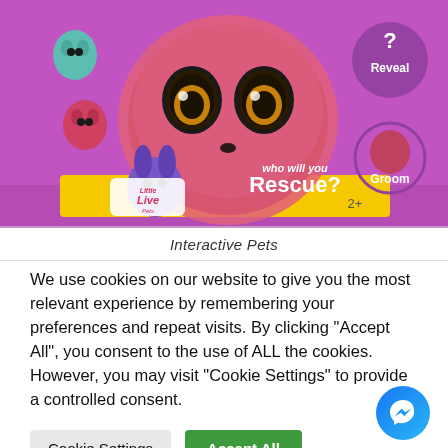[Figure (photo): Little Live Pets toy box featuring a fluffy pink interactive pet with large eyes. Text on box reads 'Who will you Rescue?' with smaller pets visible. Shows 'Reveal', 'Groom' icons and age rating 2+. Little Live Pets logo visible.]
Interactive Pets
We use cookies on our website to give you the most relevant experience by remembering your preferences and repeat visits. By clicking “Accept All”, you consent to the use of ALL the cookies. However, you may visit “Cookie Settings” to provide a controlled consent.
Cookie Settings
Accept All